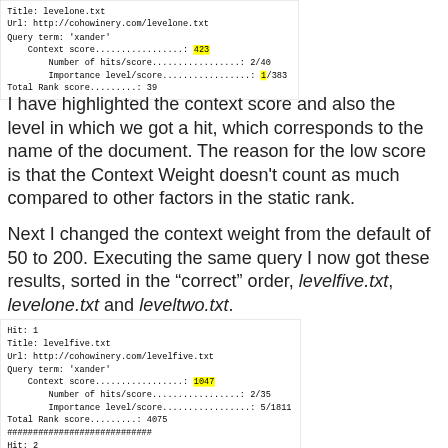[Figure (screenshot): Code/terminal output box showing search result for levelone.txt with context score 423 highlighted, number of hits/score 2/40, importance level/score 1/383 highlighted, total rank score 39]
I have highlighted the context score and also the level in which we got a hit, which corresponds to the name of the document. The reason for the low score is that the Context Weight doesn't count as much compared to other factors in the static rank.
Next I changed the context weight from the default of 50 to 200. Executing the same query I now got these results, sorted in the “correct” order, levelfive.txt, levelone.txt and leveltwo.txt.
[Figure (screenshot): Code/terminal output box showing search results: Hit 1 levelfive.txt with context score 1047 highlighted, number of hits/score 2/35, importance level/score 5/1811, total rank score 4075, separator ###, Hit 2 levelone.txt]